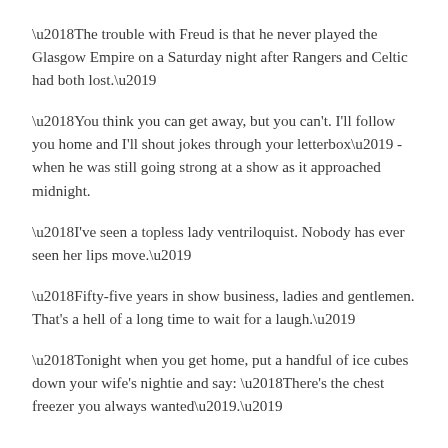‘The trouble with Freud is that he never played the Glasgow Empire on a Saturday night after Rangers and Celtic had both lost.’
‘You think you can get away, but you can’t. I’ll follow you home and I’ll shout jokes through your letterbox’ - when he was still going strong at a show as it approached midnight.
‘I’ve seen a topless lady ventriloquist. Nobody has ever seen her lips move.’
‘Fifty-five years in show business, ladies and gentlemen. That’s a hell of a long time to wait for a laugh.’
‘Tonight when you get home, put a handful of ice cubes down your wife’s nightie and say: ‘There’s the chest freezer you always wanted’.’